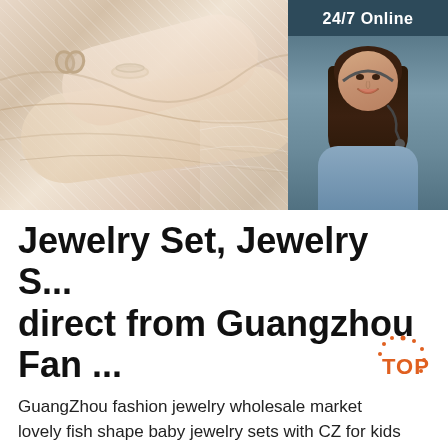[Figure (photo): Close-up photo of a woman's hand/arm wearing a bracelet against white wedding dress fabric with tulle. Overlaid with a 24/7 online chat widget showing a woman with headset, 'Click here for free chat!' text, and an orange QUOTATION button.]
Jewelry Set, Jewelry S... direct from Guangzhou Fan ...
GuangZhou fashion jewelry wholesale market lovely fish shape baby jewelry sets with CZ for kids jewelry. $3.98 - $4.71 Set. 12 Sets (Min. Order)